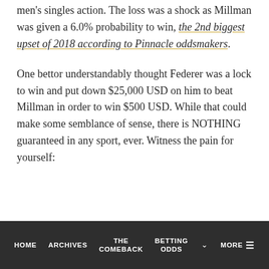men's singles action. The loss was a shock as Millman was given a 6.0% probability to win, the 2nd biggest upset of 2018 according to Pinnacle oddsmakers.
One bettor understandably thought Federer was a lock to win and put down $25,000 USD on him to beat Millman in order to win $500 USD. While that could make some semblance of sense, there is NOTHING guaranteed in any sport, ever. Witness the pain for yourself:
HOME  ARCHIVES  THE COMEBACK  BETTING ODDS  MORE